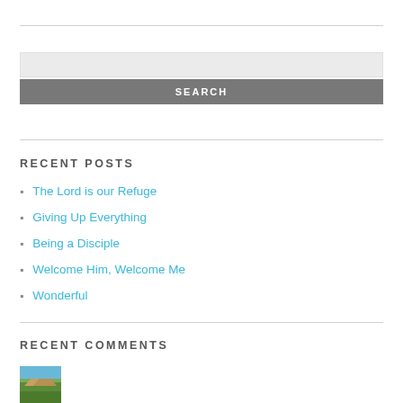[Figure (other): Search input field (light gray background)]
SEARCH
RECENT POSTS
The Lord is our Refuge
Giving Up Everything
Being a Disciple
Welcome Him, Welcome Me
Wonderful
RECENT COMMENTS
[Figure (photo): Small thumbnail image of a landscape/mountain scene]